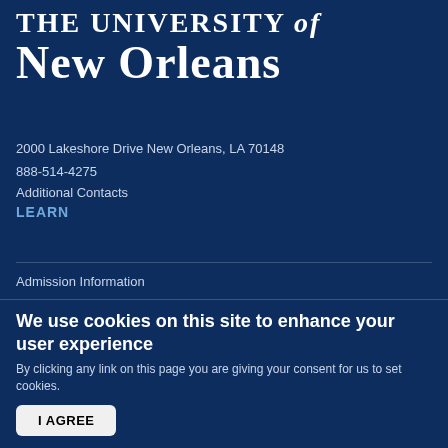THE UNIVERSITY of NEW ORLEANS
2000 Lakeshore Drive New Orleans, LA 70148
888-514-4275
Additional Contacts
LEARN
Admission Information
Programs of Study
Scholarships and Awards
Tuition and Fees
EXPERIENCE
We use cookies on this site to enhance your user experience
By clicking any link on this page you are giving your consent for us to set cookies.
I AGREE